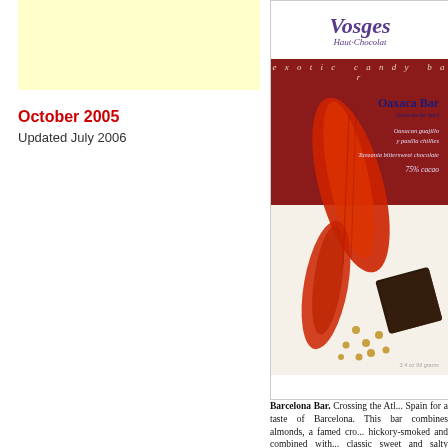[Figure (other): Yellow/cream colored advertisement box placeholder on left column]
October 2005
Updated July 2006
[Figure (photo): Vosges Haut-Chocolat Oaxaca Bar exotic candy bar package. Shows red dried chili peppers and dark chocolate pieces. Label reads: Oaxaca Bar (wau-ha-ka bar), Oaxacan guajillo y pasilla chillies, Tanzania bittersweet chocolate, 75% cacao. 3.4 oz / 96 grams.]
Barcelona Bar. Crossing the Atl... Spain for a taste of Barcelona. This bar combines almonds, a famed cro... hickory-smoked and combined with... classic sweet and salty pairing wi...